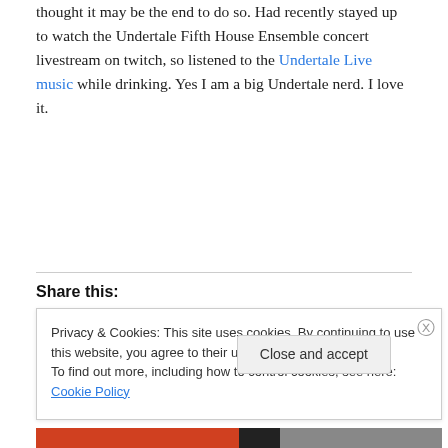thought it may be the end to do so. Had recently stayed up to watch the Undertale Fifth House Ensemble concert livestream on twitch, so listened to the Undertale Live music while drinking. Yes I am a big Undertale nerd. I love it.
Share this:
Privacy & Cookies: This site uses cookies. By continuing to use this website, you agree to their use.
To find out more, including how to control cookies, see here: Cookie Policy